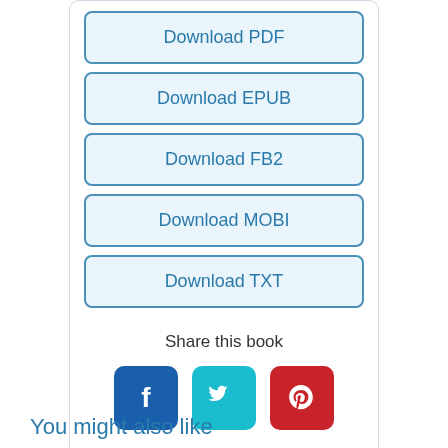Download PDF
Download EPUB
Download FB2
Download MOBI
Download TXT
Share this book
[Figure (illustration): Social media share icons: Facebook (blue), Twitter (teal), Pinterest (red)]
You might also like